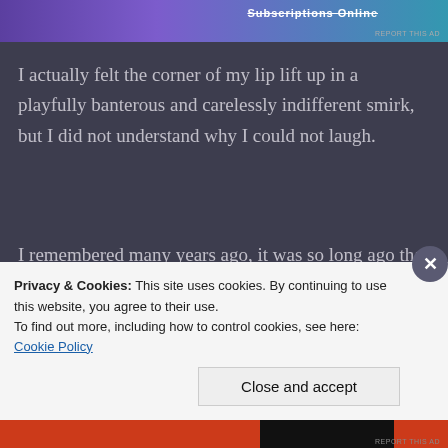[Figure (other): Advertisement banner with purple and teal gradient background, 'Subscriptions Online' text]
I actually felt the corner of my lip lift up in a playfully banterous and carelessly indifferent smirk, but I did not understand why I could not laugh.
I remembered many years ago, it was so long ago that I could not even recall which year it was, but there was a person who was part of the prestigious righteous sect, he told me that I was born to be a demon, that I was to become the most sinister person in the world, that my heart would certainly be nefarious, that my behavior
Privacy & Cookies: This site uses cookies. By continuing to use this website, you agree to their use.
To find out more, including how to control cookies, see here: Cookie Policy
Close and accept
[Figure (other): Bottom advertisement banner with red and black sections]